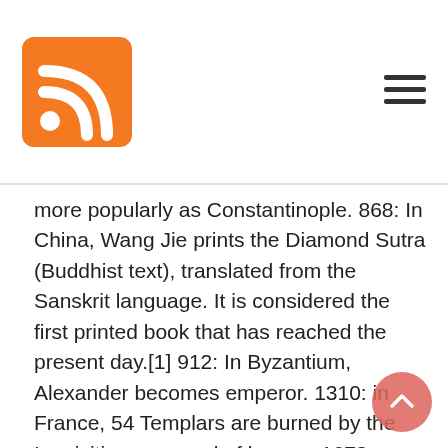[Figure (logo): Orange RSS feed icon square logo in the top left header area]
[Figure (other): Hamburger menu icon (three horizontal lines) in the top right header area]
more popularly as Constantinople. 868: In China, Wang Jie prints the Diamond Sutra (Buddhist text), translated from the Sanskrit language. It is considered the first printed book that has reached the present day.[1] 912: In Byzantium, Alexander becomes emperor. 1310: in France, 54 Templars are burned by the Inquisition, accused of heresy. 1678: on the Dutch island of Curaçao, French ships under the command of Jean d'Estrées are shipwrecked while attempting to conquer it. 1745: in the Fontenoy plain, 7 kilometers southeast of the village of Tournai, during the War of the Austrian Succession, French forces defeat the Anglo-Dutch army at the Battle of Fontenoy. 1812: in the offices of the House of Lords (London) a certain John Bellingham assassinates British Prime Minister Spencer Perceval. 1813: in Argentina, the